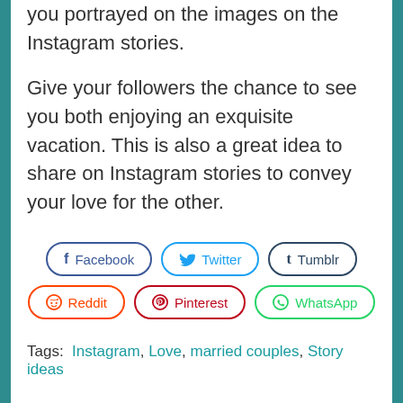you portrayed on the images on the Instagram stories.
Give your followers the chance to see you both enjoying an exquisite vacation. This is also a great idea to share on Instagram stories to convey your love for the other.
[Figure (infographic): Social media share buttons: Facebook, Twitter, Tumblr (top row); Reddit, Pinterest, WhatsApp (bottom row)]
Tags: Instagram, Love, married couples, Story ideas